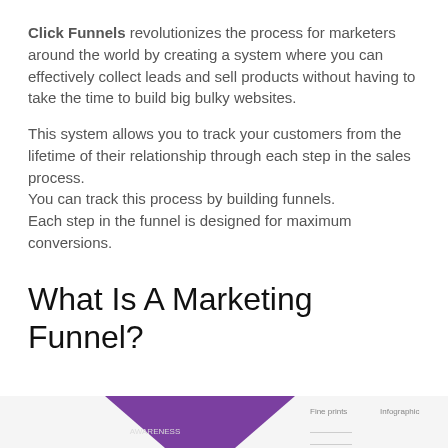Click Funnels revolutionizes the process for marketers around the world by creating a system where you can effectively collect leads and sell products without having to take the time to build big bulky websites.
This system allows you to track your customers from the lifetime of their relationship through each step in the sales process. You can track this process by building funnels. Each step in the funnel is designed for maximum conversions.
What Is A Marketing Funnel?
[Figure (infographic): Bottom portion of a marketing funnel infographic showing a purple funnel shape with partially visible text labels]